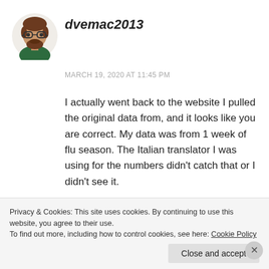[Figure (illustration): Cartoon avatar of a man with brown hair, beard, and glasses, wearing a dark green shirt]
dvemac2013
MARCH 19, 2020 AT 11:45 PM
I actually went back to the website I pulled the original data from, and it looks like you are correct. My data was from 1 week of flu season. The Italian translator I was using for the numbers didn't catch that or I didn't see it.
So I went back and added up all of the flu...
Privacy & Cookies: This site uses cookies. By continuing to use this website, you agree to their use.
To find out more, including how to control cookies, see here: Cookie Policy
Close and accept